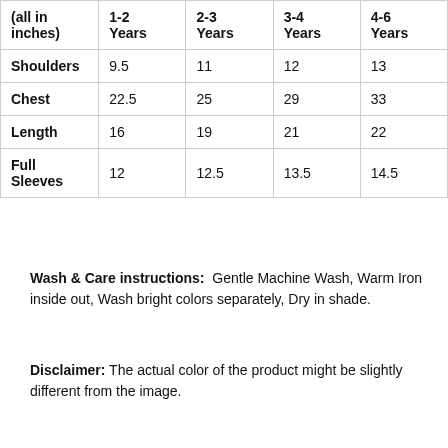| (all in inches) | 1-2 Years | 2-3 Years | 3-4 Years | 4-6 Years |
| --- | --- | --- | --- | --- |
| Shoulders | 9.5 | 11 | 12 | 13 |
| Chest | 22.5 | 25 | 29 | 33 |
| Length | 16 | 19 | 21 | 22 |
| Full Sleeves | 12 | 12.5 | 13.5 | 14.5 |
Wash & Care instructions:  Gentle Machine Wash, Warm Iron inside out, Wash bright colors separately, Dry in shade.
Disclaimer: The actual color of the product might be slightly different from the image.